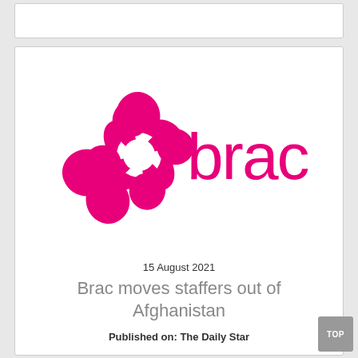[Figure (logo): BRAC logo in magenta/pink color — a swirl/pinwheel symbol on the left and the word 'brac' in lowercase on the right]
15 August 2021
Brac moves staffers out of Afghanistan
Published on: The Daily Star